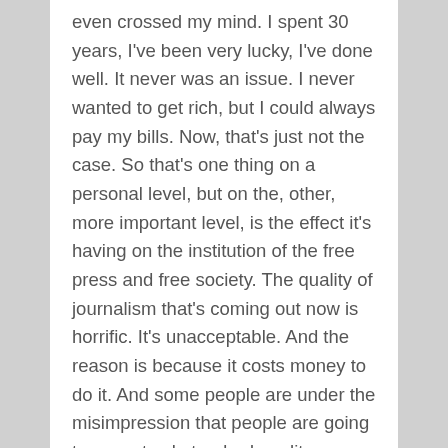even crossed my mind. I spent 30 years, I've been very lucky, I've done well. It never was an issue. I never wanted to get rich, but I could always pay my bills. Now, that's just not the case. So that's one thing on a personal level, but on the, other, more important level, is the effect it's having on the institution of the free press and free society. The quality of journalism that's coming out now is horrific. It's unacceptable. And the reason is because it costs money to do it. And some people are under the misimpression that people are going to accept substandard quality journalism in the stead of real reporting, and I'm absolutely convinced that they're wrong, and that sometime, relatively soon, someone's going to figure out how to create a model where